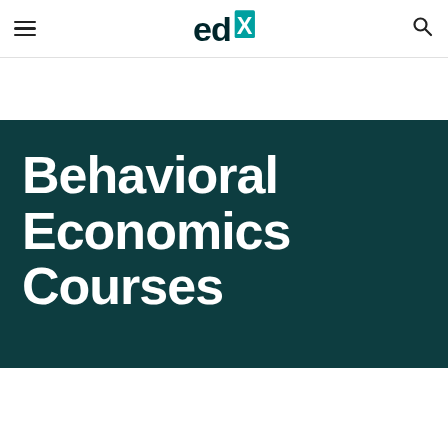edX navigation header with hamburger menu and search icon
Behavioral Economics Courses
All Subjects > Economics > Behavioral Economics